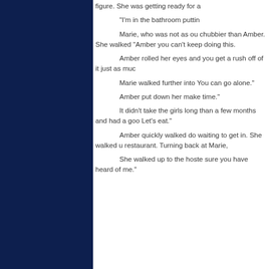figure. She was getting ready for a
“I’m in the bathroom puttin
Marie, who was not as ou chubbier than Amber. She walked “Amber you can’t keep doing this.
Amber rolled her eyes and you get a rush off of it just as muc
Marie walked further into You can go alone.”
Amber put down her make time.”
It didn’t take the girls long than a few months and had a goo Let’s eat.”
Amber quickly walked do waiting to get in. She walked u restaurant. Turning back at Marie,
She walked up to the hoste sure you have heard of me.”